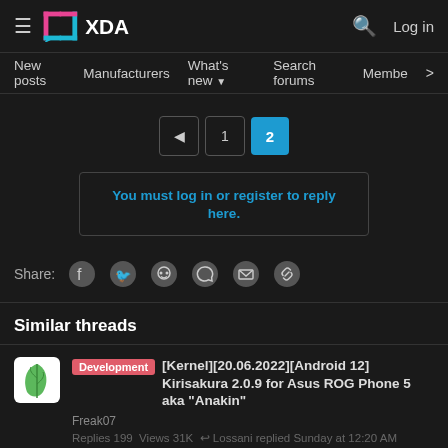XDA — Log in
New posts  Manufacturers  What's new  Search forums  Membe >
◄  1  2
You must log in or register to reply here.
Share: [Facebook] [Twitter] [Reddit] [WhatsApp] [Email] [Link]
Similar threads
Development [Kernel][20.06.2022][Android 12] Kirisakura 2.0.9 for Asus ROG Phone 5 aka "Anakin"
Freak07
Replies 199  Views 31K  ↩ Lossani replied Sunday at 12:20 AM